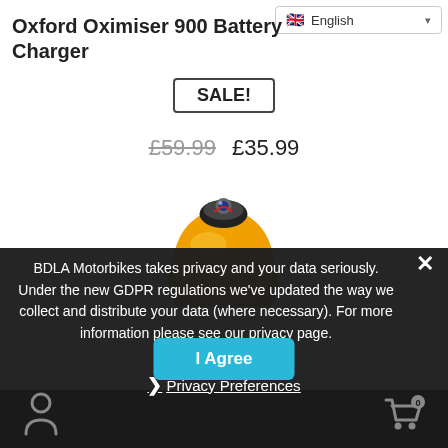Oxford Oximiser 900 Battery Charger
SALE!
£59.99  £35.99
[Figure (photo): Oxford Oximiser 900 battery charger product image, orange/amber ovoid shape with connector on top]
BDLA Motorbikes takes privacy and your data seriously. Under the new GDPR regulations we've updated the way we collect and distribute your data (where necessary). For more information please see our privacy page.
❯ Privacy Preferences
I Agree